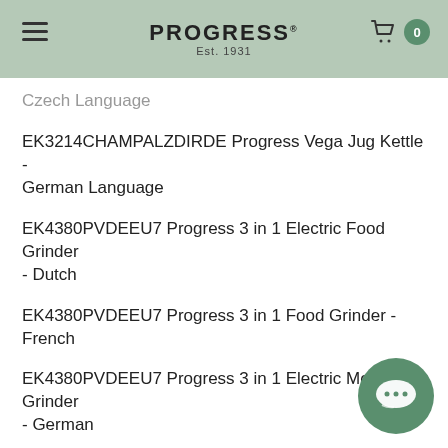PROGRESS Est. 1931
Czech Language
EK3214CHAMPALZDIRDE Progress Vega Jug Kettle - German Language
EK4380PVDEEU7 Progress 3 in 1 Electric Food Grinder - Dutch
EK4380PVDEEU7 Progress 3 in 1 Food Grinder - French
EK4380PVDEEU7 Progress 3 in 1 Electric Meat Grinder - German
EK4380PVDEEU7 Progress 3 in 1 Food Grinder
EK4380PVDEEU7 Progress 3 in 1 Food Grinder -